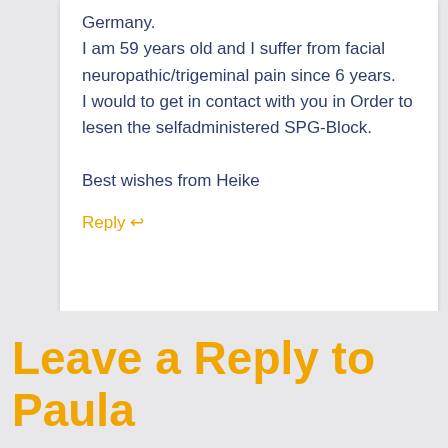Germany.
I am 59 years old and I suffer from facial neuropathic/trigeminal pain since 6 years.
I would to get in contact with you in Order to lesen the selfadministered SPG-Block.

Best wishes from Heike
Reply ↩
Leave a Reply to Paula